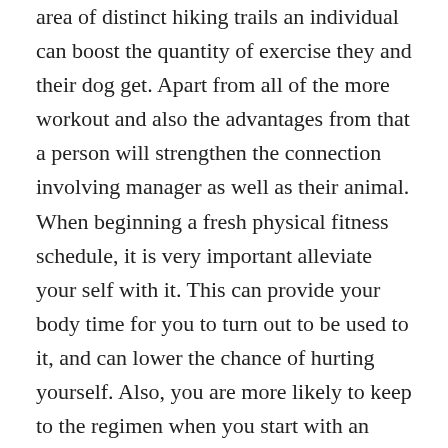area of distinct hiking trails an individual can boost the quantity of exercise they and their dog get. Apart from all of the more workout and also the advantages from that a person will strengthen the connection involving manager as well as their animal. When beginning a fresh physical fitness schedule, it is very important alleviate your self with it. This can provide your body time for you to turn out to be used to it, and can lower the chance of hurting yourself. Also, you are more likely to keep to the regimen when you start with an issue that is easily achievable. When you get accustomed to the exercising, you can raise the high intensity and time period. A great way to get fit is always to talk about your desired goals to your friends and family. Occasionally other individuals just need some nudge to get started and it's wonderful to be able to comply with your